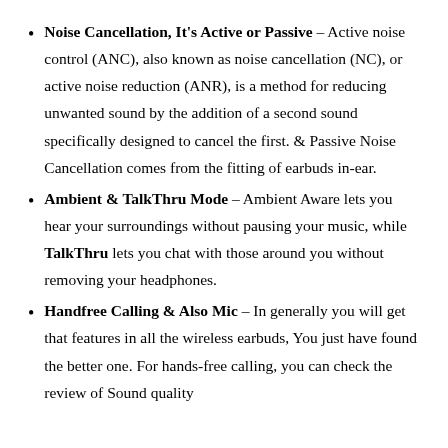Noise Cancellation, It's Active or Passive – Active noise control (ANC), also known as noise cancellation (NC), or active noise reduction (ANR), is a method for reducing unwanted sound by the addition of a second sound specifically designed to cancel the first. & Passive Noise Cancellation comes from the fitting of earbuds in-ear.
Ambient & TalkThru Mode – Ambient Aware lets you hear your surroundings without pausing your music, while TalkThru lets you chat with those around you without removing your headphones.
Handfree Calling & Also Mic – In generally you will get that features in all the wireless earbuds, You just have found the better one. For hands-free calling, you can check the review of Sound quality